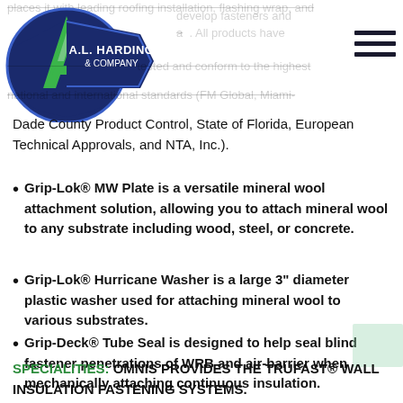[Figure (logo): A.L. Harding & Company logo — navy blue pentagon/shield shape with green triangular 'A' mark and white text]
places it with leading roofing installation, flashing wrap, and a [partially obscured] develop fasteners and a [partially obscured]. All products have [partially obscured] tested and conform to the highest national and international standards (FM Global, Miami-Dade County Product Control, State of Florida, European Technical Approvals, and NTA, Inc.).
Grip-Lok® MW Plate is a versatile mineral wool attachment solution, allowing you to attach mineral wool to any substrate including wood, steel, or concrete.
Grip-Lok® Hurricane Washer is a large 3" diameter plastic washer used for attaching mineral wool to various substrates.
Grip-Deck® Tube Seal is designed to help seal blind fastener penetrations of WRB and air-barrier when mechanically attaching continuous insulation.
SPECIALITIES: OMNIS PROVIDES THE TRUFAST® WALL INSULATION FASTENING SYSTEMS.